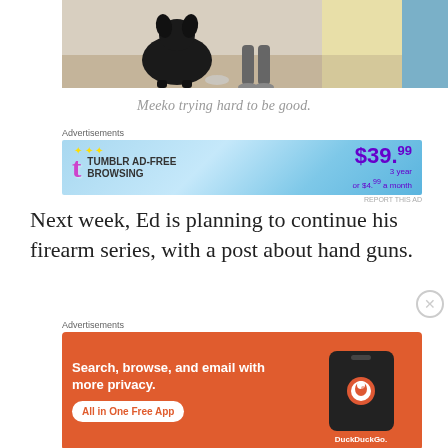[Figure (photo): A black dog sitting in what appears to be a kitchen or indoor space, with a person visible in the background]
Meeko trying hard to be good.
[Figure (other): Tumblr Ad-Free Browsing advertisement banner showing $39.99/3 year or $4.99/month pricing]
Next week, Ed is planning to continue his firearm series, with a post about hand guns.
[Figure (other): DuckDuckGo advertisement: Search, browse, and email with more privacy. All in One Free App.]